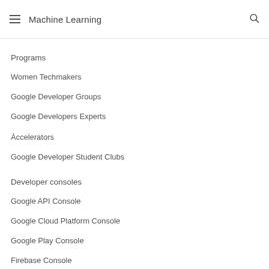Machine Learning
Programs
Women Techmakers
Google Developer Groups
Google Developers Experts
Accelerators
Google Developer Student Clubs
Developer consoles
Google API Console
Google Cloud Platform Console
Google Play Console
Firebase Console